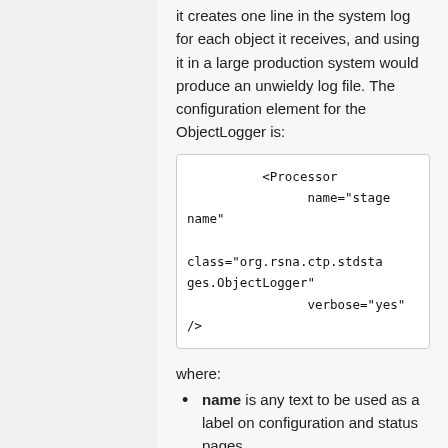it creates one line in the system log for each object it receives, and using it in a large production system would produce an unwieldy log file. The configuration element for the ObjectLogger is:
<Processor
                name="stage name"

 class="org.rsna.ctp.stdstages.ObjectLogger"
                verbose="yes"
/>
where:
name is any text to be used as a label on configuration and status pages.
verbose increases the amount of information logged about each